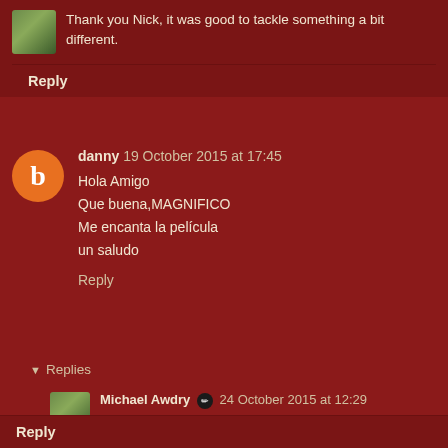Thank you Nick, it was good to tackle something a bit different.
Reply
danny 19 October 2015 at 17:45
Hola Amigo
Que buena,MAGNIFICO
Me encanta la película
un saludo
Reply
Replies
Michael Awdry 24 October 2015 at 12:29
Thank you so much J.D. that is very kind of you.
Reply